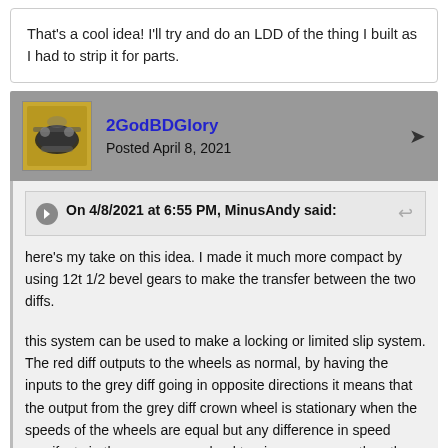That's a cool idea! I'll try and do an LDD of the thing I built as I had to strip it for parts.
2GodBDGlory
Posted April 8, 2021
On 4/8/2021 at 6:55 PM, MinusAndy said:
here's my take on this idea. I made it much more compact by using 12t 1/2 bevel gears to make the transfer between the two diffs.
this system can be used to make a locking or limited slip system. The red diff outputs to the wheels as normal, by having the inputs to the grey diff going in opposite directions it means that the output from the grey diff crown wheel is stationary when the speeds of the wheels are equal but any difference in speed manifests in the grey crown wheel turning one way or the other and that